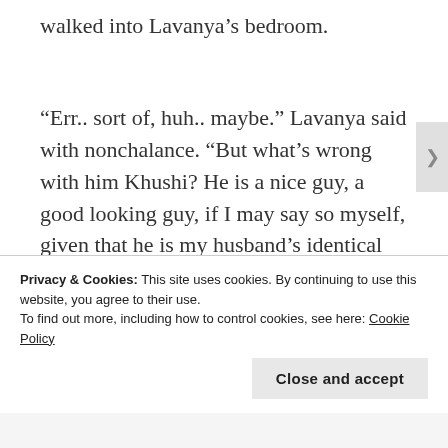walked into Lavanya’s bedroom.
“Err.. sort of, huh.. maybe.” Lavanya said with nonchalance. “But what’s wrong with him Khushi? He is a nice guy, a good looking guy, if I may say so myself, given that he is my husband’s identical twin.” Lavanya smirked. The only difference between Adrian and André was the color of their eyes. While Adrian had light brown eyes, André
Privacy & Cookies: This site uses cookies. By continuing to use this website, you agree to their use.
To find out more, including how to control cookies, see here: Cookie Policy
Close and accept